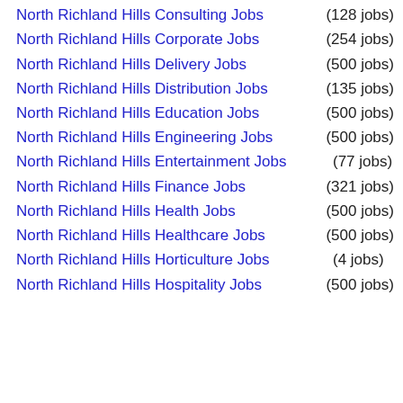North Richland Hills Consulting Jobs (128 jobs)
North Richland Hills Corporate Jobs (254 jobs)
North Richland Hills Delivery Jobs (500 jobs)
North Richland Hills Distribution Jobs (135 jobs)
North Richland Hills Education Jobs (500 jobs)
North Richland Hills Engineering Jobs (500 jobs)
North Richland Hills Entertainment Jobs (77 jobs)
North Richland Hills Finance Jobs (321 jobs)
North Richland Hills Health Jobs (500 jobs)
North Richland Hills Healthcare Jobs (500 jobs)
North Richland Hills Horticulture Jobs (4 jobs)
North Richland Hills Hospitality Jobs (500 jobs)